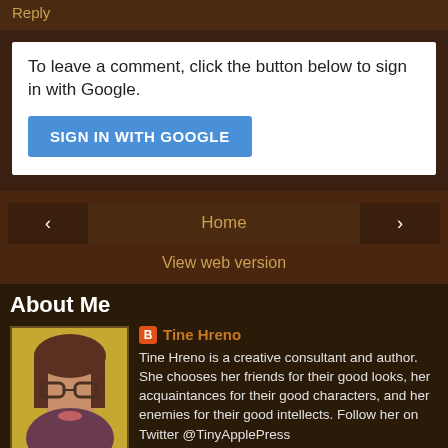Reply
To leave a comment, click the button below to sign in with Google.
SIGN IN WITH GOOGLE
< Home >
View web version
About Me
[Figure (photo): Profile photo of Tine Hreno, a woman with glasses and dark hair against a yellow background]
Tine Hreno
Tine Hreno is a creative consultant and author. She chooses her friends for their good looks, her acquaintances for their good characters, and her enemies for their good intellects. Follow her on Twitter @TinyApplePress
View my complete profile